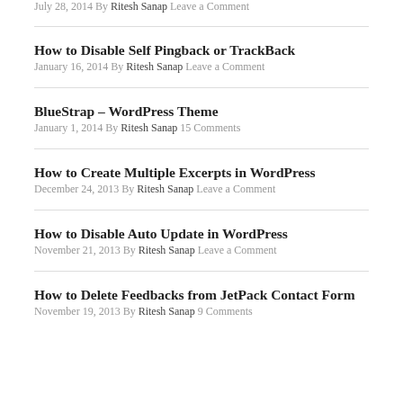July 28, 2014 By Ritesh Sanap Leave a Comment
How to Disable Self Pingback or TrackBack
January 16, 2014 By Ritesh Sanap Leave a Comment
BlueStrap – WordPress Theme
January 1, 2014 By Ritesh Sanap 15 Comments
How to Create Multiple Excerpts in WordPress
December 24, 2013 By Ritesh Sanap Leave a Comment
How to Disable Auto Update in WordPress
November 21, 2013 By Ritesh Sanap Leave a Comment
How to Delete Feedbacks from JetPack Contact Form
November 19, 2013 By Ritesh Sanap 9 Comments